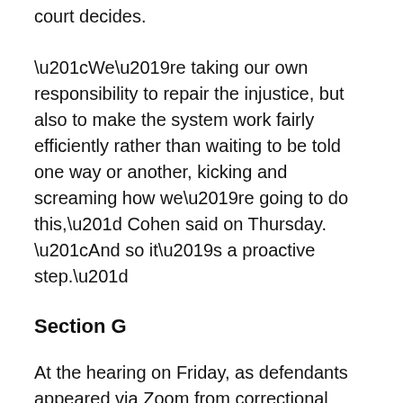court decides.
“We’re taking our own responsibility to repair the injustice, but also to make the system work fairly efficiently rather than waiting to be told one way or another, kicking and screaming how we’re going to do this,” Cohen said on Thursday. “And so it’s a proactive step.”
Section G
At the hearing on Friday, as defendants appeared via Zoom from correctional institutions around the state, prosecutors acknowledged in each case that each one had been convicted using a process that the U.S. Supreme Court has said violate the